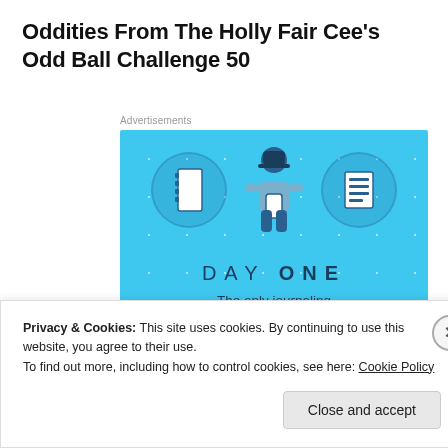Oddities From The Holly Fair Cee's Odd Ball Challenge 50
Advertisements
[Figure (illustration): DAY ONE app advertisement. Blue background with sparkle dots. Three icons at top: a notebook in a circle (left), a person holding a phone (center, larger), and a list/notes in a circle (right). Text reads 'DAY ONE' in spaced lettering, then 'The only journaling app you'll ever need.' with a dark button below.]
Privacy & Cookies: This site uses cookies. By continuing to use this website, you agree to their use.
To find out more, including how to control cookies, see here: Cookie Policy
Close and accept